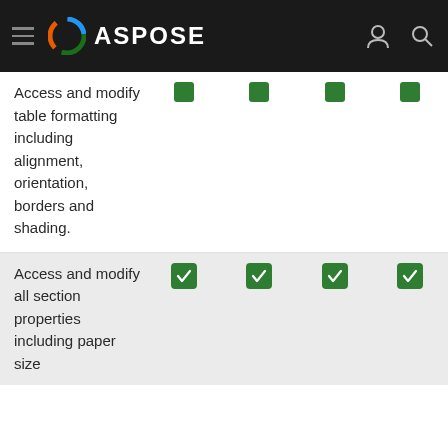ASPOSE
| Feature | Col1 | Col2 | Col3 | Col4 |
| --- | --- | --- | --- | --- |
| Access and modify table formatting including alignment, orientation, borders and shading. | ✓ | ✓ | ✓ | ✓ |
| Access and modify all section properties including paper size | ✓ | ✓ | ✓ | ✓ |